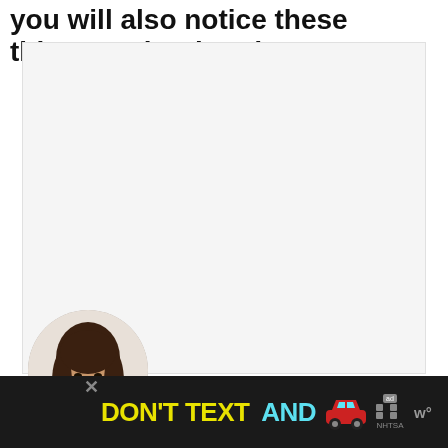you will also notice these things on her hands.
[Figure (photo): Large rectangular white/light gray placeholder image area]
[Figure (photo): Circular avatar photo of a smiling young woman with long dark hair, wearing a white top, on a light background]
[Figure (other): Advertisement banner: DON'T TEXT AND [car emoji] with NHTSA ad logo and close button, dark background]